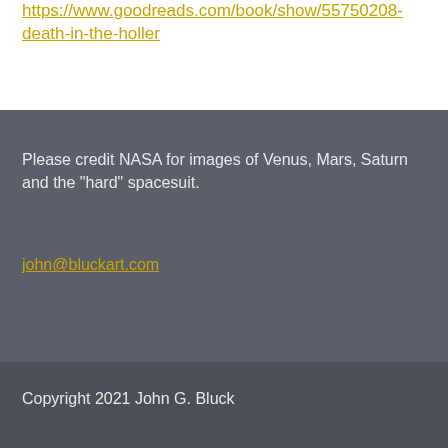https://www.goodreads.com/book/show/55750208-death-in-the-holler
Please credit NASA for images of Venus, Mars, Saturn and the "hard" spacesuit.
john@bluckart.com
Copyright 2021 John G. Bluck